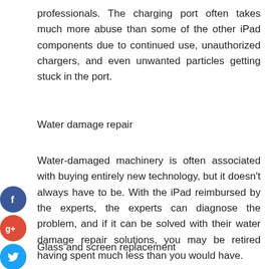professionals. The charging port often takes much more abuse than some of the other iPad components due to continued use, unauthorized chargers, and even unwanted particles getting stuck in the port.
Water damage repair
Water-damaged machinery is often associated with buying entirely new technology, but it doesn't always have to be. With the iPad reimbursed by the experts, the experts can diagnose the problem, and if it can be solved with their water damage repair solutions, you may be retired having spent much less than you would have.
Glass and screen replacement